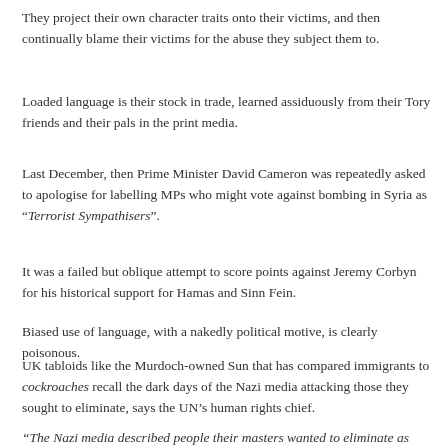They project their own character traits onto their victims, and then continually blame their victims for the abuse they subject them to.
Loaded language is their stock in trade, learned assiduously from their Tory friends and their pals in the print media.
Last December, then Prime Minister David Cameron was repeatedly asked to apologise for labelling MPs who might vote against bombing in Syria as “Terrorist Sympathisers”.
It was a failed but oblique attempt to score points against Jeremy Corbyn for his historical support for Hamas and Sinn Fein.
Biased use of language, with a nakedly political motive, is clearly poisonous.
UK tabloids like the Murdoch-owned Sun that has compared immigrants to cockroaches recall the dark days of the Nazi media attacking those they sought to eliminate, says the UN’s human rights chief.
“The Nazi media described people their masters wanted to eliminate as rats and cockroaches,” said UN high commissioner for human rights, Zeid Ra’ad Al Hussein.